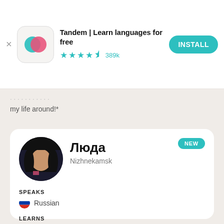[Figure (screenshot): Tandem app install banner with logo, star rating 389k reviews, and INSTALL button]
my life around!*
[Figure (screenshot): Profile card for Люда from Nizhnekamsk. Speaks Russian. Learns English, Spanish, Norwegian. NEW badge.]